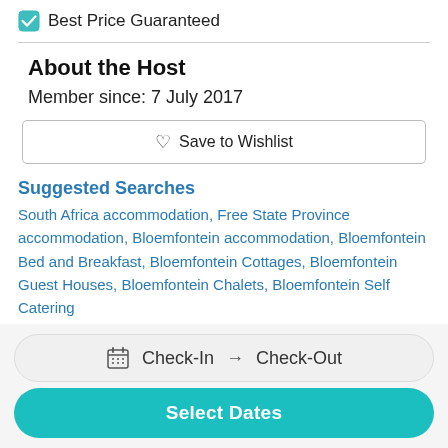Best Price Guaranteed
About the Host
Member since: 7 July 2017
♡ Save to Wishlist
Suggested Searches
South Africa accommodation, Free State Province accommodation, Bloemfontein accommodation, Bloemfontein Bed and Breakfast, Bloemfontein Cottages, Bloemfontein Guest Houses, Bloemfontein Chalets, Bloemfontein Self Catering
Bloemfontein Reviews
Check-In → Check-Out
Select Dates